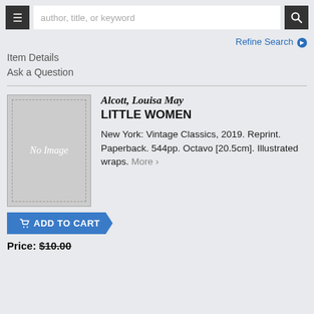author, title, or keyword
Refine Search
Item Details
Ask a Question
[Figure (illustration): Book cover placeholder showing 'No Image' text on a grey background with dashed border]
Alcott, Louisa May
LITTLE WOMEN
New York: Vintage Classics, 2019. Reprint. Paperback. 544pp. Octavo [20.5cm]. Illustrated wraps. More >
ADD TO CART
Price: $10.00